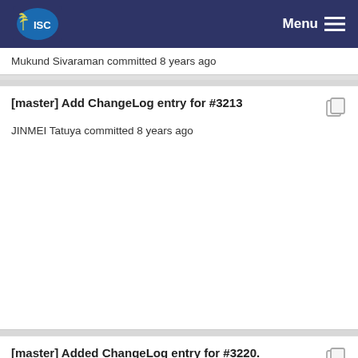ISC - Menu
Mukund Sivaraman committed 8 years ago
[master] Add ChangeLog entry for #3213
JINMEI Tatuya committed 8 years ago
[master] Added ChangeLog entry for #3220.
Marcin Siodelski committed 8 years ago